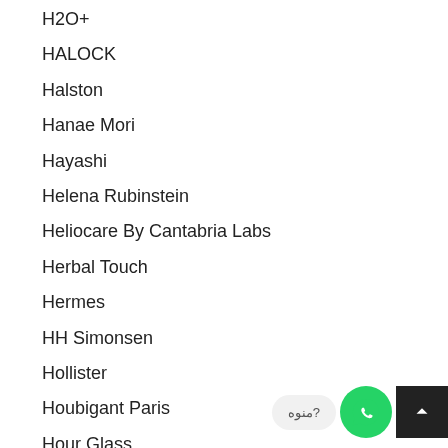H2O+
HALOCK
Halston
Hanae Mori
Hayashi
Helena Rubinstein
Heliocare By Cantabria Labs
Herbal Touch
Hermes
HH Simonsen
Hollister
Houbigant Paris
Hour Glass
Huda Beauty
Hugo Boss
Humble
Hummer
HydroPeptide